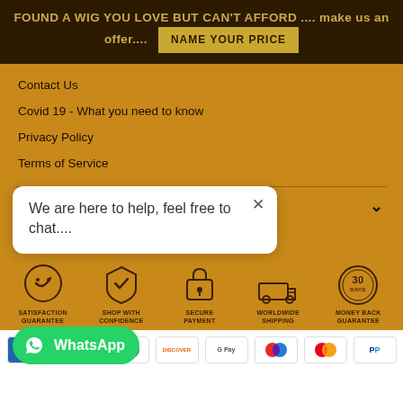FOUND A WIG YOU LOVE BUT CAN'T AFFORD .... make us an offer.... NAME YOUR PRICE
Contact Us
Covid 19 - What you need to know
Privacy Policy
Terms of Service
SIGN UP AND START SAVING
We are here to help, feel free to chat....
[Figure (infographic): Five trust badge icons: Satisfaction Guarantee, Shop With Confidence, Secure Payment, Worldwide Shipping, Money Back Guarantee (30 days)]
[Figure (logo): WhatsApp button with green background and WhatsApp logo]
[Figure (infographic): Payment method icons: AMEX, Apple Pay, Diners Club, Discover, Google Pay, Maestro, Mastercard, PayPal]